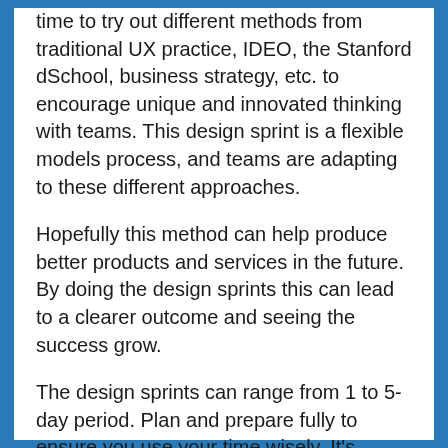time to try out different methods from traditional UX practice, IDEO, the Stanford dSchool, business strategy, etc. to encourage unique and innovated thinking with teams. This design sprint is a flexible models process, and teams are adapting to these different approaches.
Hopefully this method can help produce better products and services in the future. By doing the design sprints this can lead to a clearer outcome and seeing the success grow.
The design sprints can range from 1 to 5-day period. Plan and prepare fully to ensure you use your time wisely. It's important to plan for every day what you will do. Google recommend you try the design sprint to see what ideas you can come